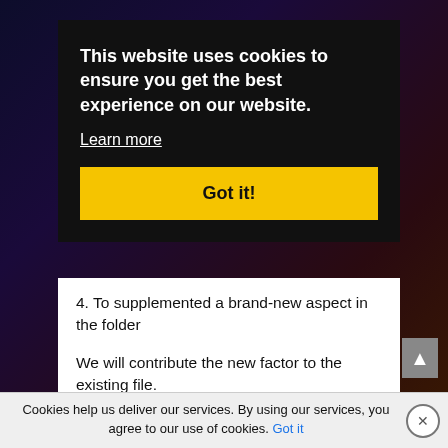This website uses cookies to ensure you get the best experience on our website.
Learn more
Got it!
4. To supplemented a brand-new aspect in the folder
We will contribute the new factor to the existing file.
$ file= ‘C :\ Temp \ SampleXML.xml’ $xml=[ xml ]( Get-Content$ file)
Cookies help us deliver our services. By using our services, you agree to our use of cookies.
Got it